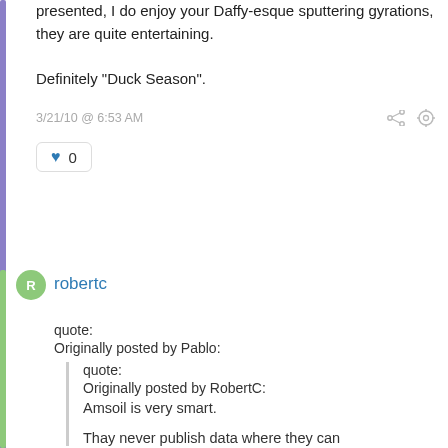presented, I do enjoy your Daffy-esque sputtering gyrations, they are quite entertaining.

Definitely "Duck Season".
3/21/10 @ 6:53 AM
♥ 0
robertc
quote:
Originally posted by Pablo:
quote:
Originally posted by RobertC:
Amsoil is very smart.

Thay never publish data where they can